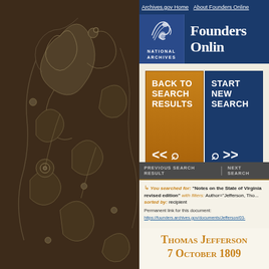[Figure (illustration): Dark brown background with white paisley floral decorative pattern, National Archives decorative sidebar]
Archives.gov Home   About Founders Online
Founders Online
[Figure (logo): National Archives eagle/wave logo in white on dark blue background with text NATIONAL ARCHIVES below]
BACK TO SEARCH RESULTS <<
START NEW SEARCH >>
PREVIOUS SEARCH RESULT   NEXT SEARCH
You searched for: "Notes on the State of Virginia revised edition" with filters: Author="Jefferson, Tho... sorted by: recipient
Permanent link for this document: https://founders.archives.gov/documents/Jefferson/03-
Thomas Jefferson 7 October 1809